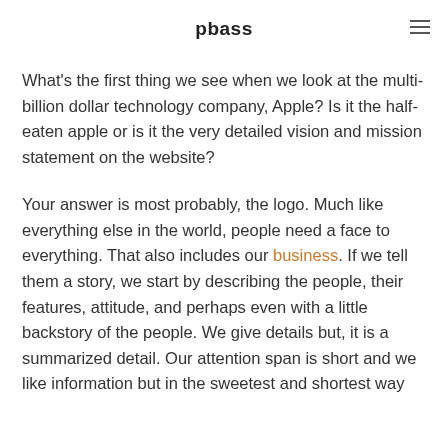pbass
What's the first thing we see when we look at the multi-billion dollar technology company, Apple? Is it the half-eaten apple or is it the very detailed vision and mission statement on the website?
Your answer is most probably, the logo. Much like everything else in the world, people need a face to everything. That also includes our business. If we tell them a story, we start by describing the people, their features, attitude, and perhaps even with a little backstory of the people. We give details but, it is a summarized detail. Our attention span is short and we like information but in the sweetest and shortest way